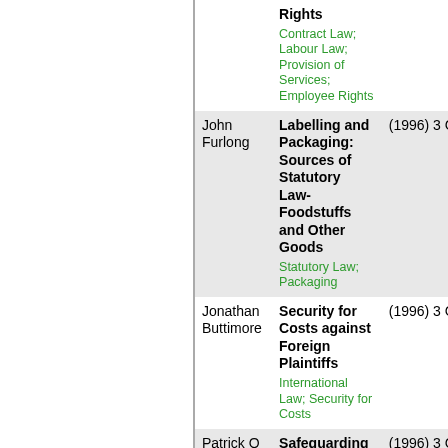| Author | Title | Reference |
| --- | --- | --- |
|  | Rights | (1996) 3 CLP 153 — Contract Law; Labour Law; Provision of Services; Employee Rights |
| John Furlong | Labelling and Packaging: Sources of Statutory Law-Foodstuffs and Other Goods — Statutory Law; Packaging | (1996) 3 CLP 153 |
| Jonathan Buttimore | Security for Costs against Foreign Plaintiffs — International Law; Security for Costs | (1996) 3 CLP 158 |
| Patrick O Callaghan | Safeguarding Solicitors Fees — Legal Profession; Fees | (1996) 3 CLP 167 |
| Michael J Twomey | The Legal Requirement for the Establishment of a | (1996) 3 CLP 178 |